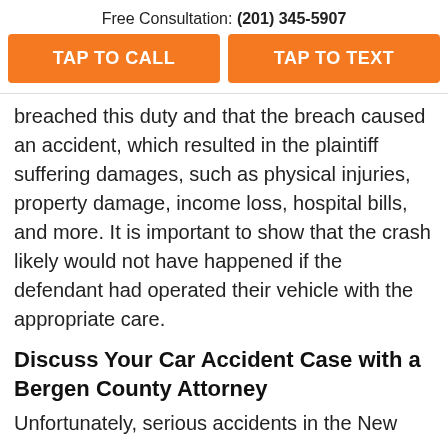Free Consultation: (201) 345-5907
TAP TO CALL
TAP TO TEXT
breached this duty and that the breach caused an accident, which resulted in the plaintiff suffering damages, such as physical injuries, property damage, income loss, hospital bills, and more. It is important to show that the crash likely would not have happened if the defendant had operated their vehicle with the appropriate care.
Discuss Your Car Accident Case with a Bergen County Attorney
Unfortunately, serious accidents in the New